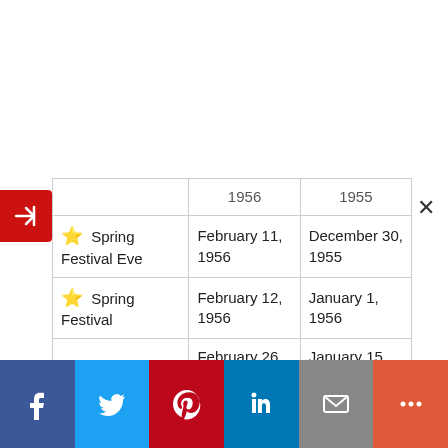| Festival | Gregorian Date | Chinese Date |
| --- | --- | --- |
|  | 1956 | 1955 |
| ⭐ Spring Festival Eve | February 11, 1956 | December 30, 1955 |
| ⭐ Spring Festival | February 12, 1956 | January 1, 1956 |
| Lantern Festival | February 26, 1956 | January 15, 1956 |
| Spring/Blue Dragon Festival | March 13, 1956 | February 2, 1956 |
| ⭐ Dragon Boat Festival | June 13, 1956 | May 5, 1956 |
[Figure (other): Social media share buttons bar: Facebook (blue), Twitter (light blue), Pinterest (red), LinkedIn (dark blue), Mail (gray), More (orange-red)]